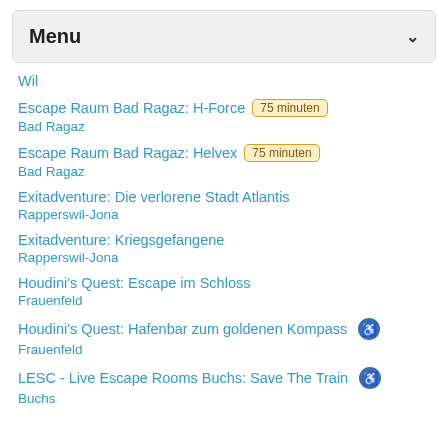Menu
Wil
Escape Raum Bad Ragaz: H-Force [75 minuten] / Bad Ragaz
Escape Raum Bad Ragaz: Helvex [75 minuten] / Bad Ragaz
Exitadventure: Die verlorene Stadt Atlantis / Rapperswil-Jona
Exitadventure: Kriegsgefangene / Rapperswil-Jona
Houdini's Quest: Escape im Schloss / Frauenfeld
Houdini's Quest: Hafenbar zum goldenen Kompass [wheelchair] / Frauenfeld
LESC - Live Escape Rooms Buchs: Save The Train [wheelchair] / Buchs